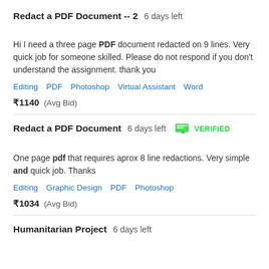Redact a PDF Document -- 2  6 days left
Hi I need a three page PDF document redacted on 9 lines. Very quick job for someone skilled. Please do not respond if you don't understand the assignment. thank you
Editing   PDF   Photoshop   Virtual Assistant   Word
₹1140  (Avg Bid)
Redact a PDF Document  6 days left  VERIFIED
One page pdf that requires aprox 8 line redactions. Very simple and quick job. Thanks
Editing   Graphic Design   PDF   Photoshop
₹1034  (Avg Bid)
Humanitarian Project  6 days left